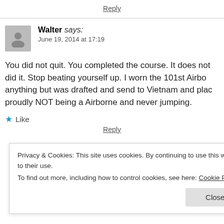Reply
Walter says:
June 19, 2014 at 17:19
You did not quit. You completed the course. It does not did it. Stop beating yourself up. I worn the 101st Airbo anything but was drafted and send to Vietnam and plac proudly NOT being a Airborne and never jumping.
★ Like
Reply
Privacy & Cookies: This site uses cookies. By continuing to use this website, you agree to their use.
To find out more, including how to control cookies, see here: Cookie Policy
Close and accept